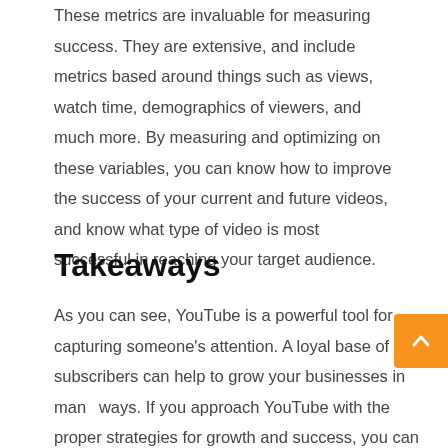These metrics are invaluable for measuring success. They are extensive, and include metrics based around things such as views, watch time, demographics of viewers, and much more. By measuring and optimizing on these variables, you can know how to improve the success of your current and future videos, and know what type of video is most successful in reaching your target audience.
Takeaways
As you can see, YouTube is a powerful tool for capturing someone's attention. A loyal base of subscribers can help to grow your businesses in many ways. If you approach YouTube with the proper strategies for growth and success, you can execute your